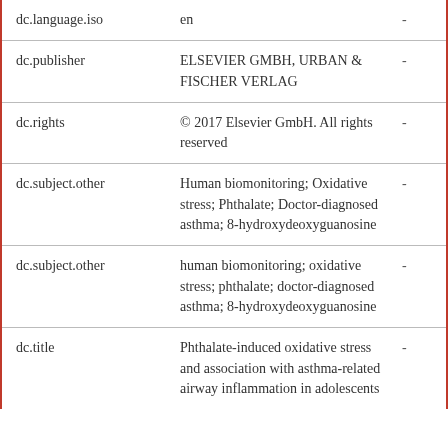| dc.language.iso | en | - |
| dc.publisher | ELSEVIER GMBH, URBAN & FISCHER VERLAG | - |
| dc.rights | © 2017 Elsevier GmbH. All rights reserved | - |
| dc.subject.other | Human biomonitoring; Oxidative stress; Phthalate; Doctor-diagnosed asthma; 8-hydroxydeoxyguanosine | - |
| dc.subject.other | human biomonitoring; oxidative stress; phthalate; doctor-diagnosed asthma; 8-hydroxydeoxyguanosine | - |
| dc.title | Phthalate-induced oxidative stress and association with asthma-related airway inflammation in adolescents | - |